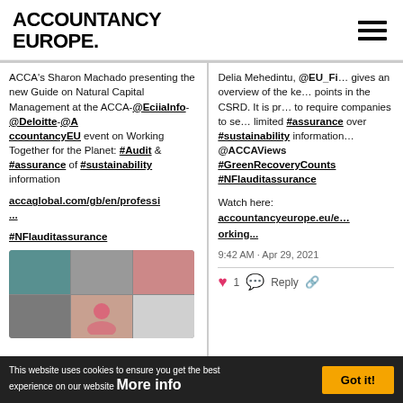ACCOUNTANCY EUROPE.
ACCA's Sharon Machado presenting the new Guide on Natural Capital Management at the ACCA-@EciiaInfo-@Deloitte-@AccountancyEU event on Working Together for the Planet: #Audit & #assurance of #sustainability information

accaglobal.com/gb/en/professi…

#NFlauditassurance
[Figure (screenshot): Screenshot of a video conference call with multiple participants in a grid layout]
Delia Mehedintu, @EU_Fi… gives an overview of the ke… points in the CSRD. It is pr… to require companies to se… limited #assurance over #sustainability information… @ACCAViews #GreenRecoveryCounts #NFlauditassurance

Watch here:
accountancyeurope.eu/e… orking…

9:42 AM · Apr 29, 2021
♥ 1  Reply
This website uses cookies to ensure you get the best experience on our website More info   Got it!